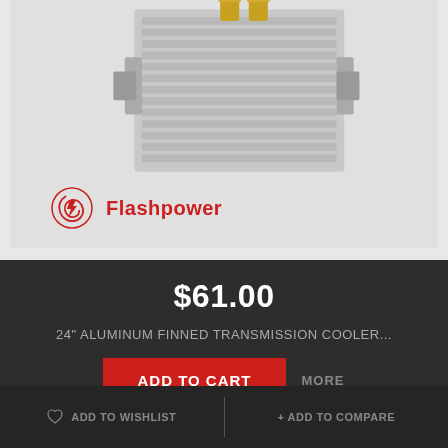[Figure (photo): Product photo of a 24-inch aluminum finned transmission cooler with brass fittings, on a light gray background with Flashpower brand logo in the lower left of the image.]
$61.00
24" ALUMINUM FINNED TRANSMISSION COOLER...
ADD TO CART
MORE
IN STOCK
ADD TO WISHLIST
+ ADD TO COMPARE